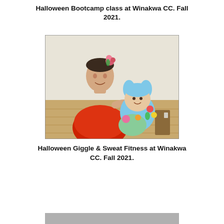Halloween Bootcamp class at Winakwa CC. Fall 2021.
[Figure (photo): A woman in a red t-shirt costume with a pink flower hair accessory holding a baby dressed in a blue Stitch costume with rabbit ears, standing indoors in a room with wood-paneled walls.]
Halloween Giggle & Sweat Fitness at Winakwa CC. Fall 2021.
[Figure (photo): Partial view of a gray/silver image strip at the bottom of the page.]